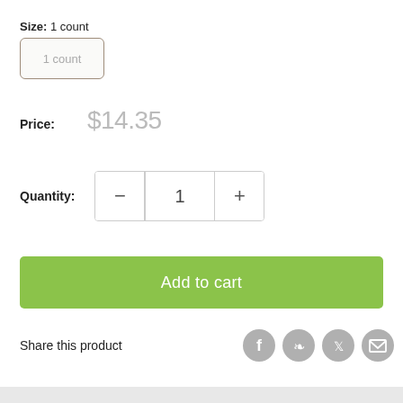Size: 1 count
1 count
Price: $14.35
Quantity: − 1 +
Add to cart
Share this product
[Figure (other): Social share icons: Facebook, Pinterest, Twitter, Email]